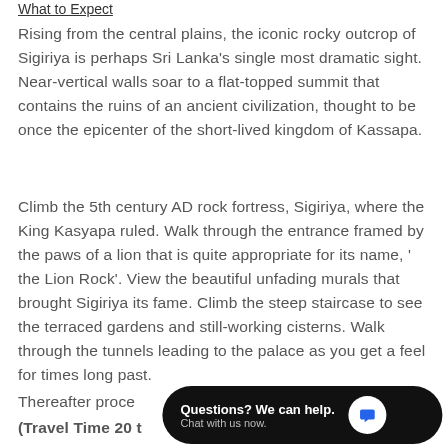What to Expect
Rising from the central plains, the iconic rocky outcrop of Sigiriya is perhaps Sri Lanka's single most dramatic sight. Near-vertical walls soar to a flat-topped summit that contains the ruins of an ancient civilization, thought to be once the epicenter of the short-lived kingdom of Kassapa.
Climb the 5th century AD rock fortress, Sigiriya, where the King Kasyapa ruled. Walk through the entrance framed by the paws of a lion that is quite appropriate for its name, ' the Lion Rock'. View the beautiful unfading murals that brought Sigiriya its fame. Climb the steep staircase to see the terraced gardens and still-working cisterns. Walk through the tunnels leading to the palace as you get a feel for times long past.
Thereafter proceed ... ve Temple.
(Travel Time 20 t...
[Figure (screenshot): Chat widget overlay with dark background, text 'Questions? We can help. Chat with us now.' and a blue chat bubble icon.]